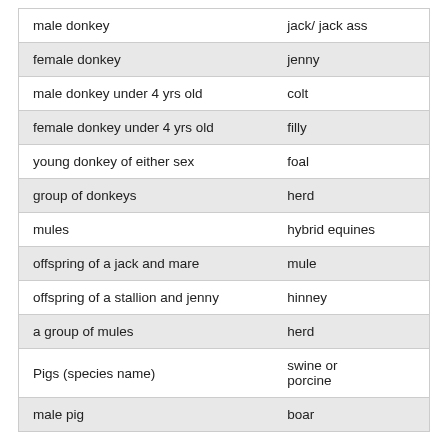| male donkey | jack/ jack ass |
| female donkey | jenny |
| male donkey under 4 yrs old | colt |
| female donkey under 4 yrs old | filly |
| young donkey of either sex | foal |
| group of donkeys | herd |
| mules | hybrid equines |
| offspring of a jack and mare | mule |
| offspring of a stallion and jenny | hinney |
| a group of mules | herd |
| Pigs (species name) | swine or porcine |
| male pig | boar |